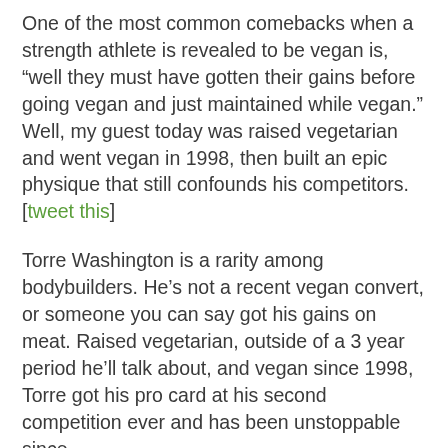One of the most common comebacks when a strength athlete is revealed to be vegan is, “well they must have gotten their gains before going vegan and just maintained while vegan.” Well, my guest today was raised vegetarian and went vegan in 1998, then built an epic physique that still confounds his competitors. [tweet this]
Torre Washington is a rarity among bodybuilders. He’s not a recent vegan convert, or someone you can say got his gains on meat. Raised vegetarian, outside of a 3 year period he’ll talk about, and vegan since 1998, Torre got his pro card at his second competition ever and has been unstoppable since.
But why am I yammering on? Let’s see the evidence.